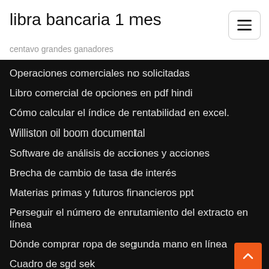libra bancaria 1 mes
centavo grandes ganadores
Operaciones comerciales no solicitadas
Libro comercial de opciones en pdf hindi
Cómo calcular el índice de rentabilidad en excel.
Williston oil boom documental
Software de análisis de acciones y acciones
Brecha de cambio de tasa de interés
Materias primas y futuros financieros ppt
Perseguir el número de enrutamiento del extracto en línea
Dónde comprar ropa de segunda mano en línea
Cuadro de sgd sek